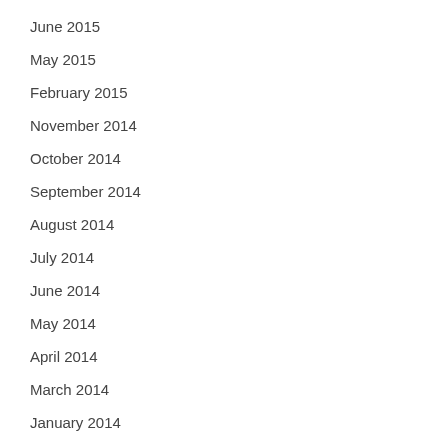June 2015
May 2015
February 2015
November 2014
October 2014
September 2014
August 2014
July 2014
June 2014
May 2014
April 2014
March 2014
January 2014